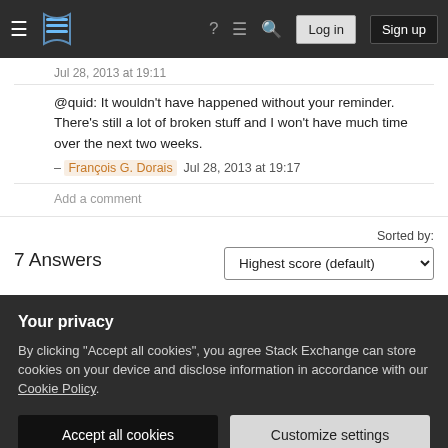Stack Exchange navigation bar with hamburger menu, logo, help, chat, search icons, Log in and Sign up buttons
Jul 28, 2013 at 19:11
@quid: It wouldn't have happened without your reminder. There's still a lot of broken stuff and I won't have much time over the next two weeks.
– François G. Dorais  Jul 28, 2013 at 19:17
Add a comment
7 Answers
Sorted by:
Highest score (default)
Some quick observations on in
Your privacy
By clicking "Accept all cookies", you agree Stack Exchange can store cookies on your device and disclose information in accordance with our Cookie Policy.
Accept all cookies
Customize settings
ommitted but there are some things in it that